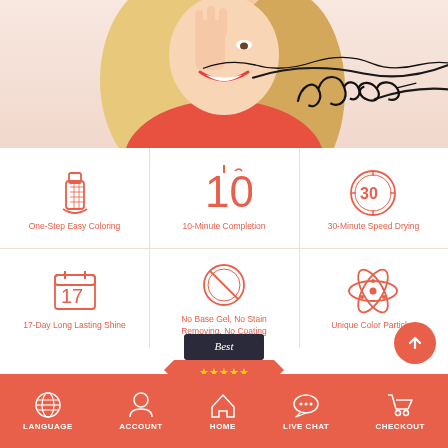[Figure (photo): Smiling blonde woman in red touching face, with cursive signature overlay]
[Figure (infographic): Six product feature icons in a 3x2 grid: nail polish icon, number 10, clock 30, calendar 17, no-sign, atom]
One-Step Easy Coloring
10-Minute Completion
30-Minute Speed Drying
17-Day Long Lasting Shine
No Base Gel, No Stain Removing, No Coating
Unique Color Particles
[Figure (illustration): Best Choice badge with orange ribbon and five stars]
LANGUAGE | ACCOUNT | HOME | LIVE CHAT | CHECKOUT